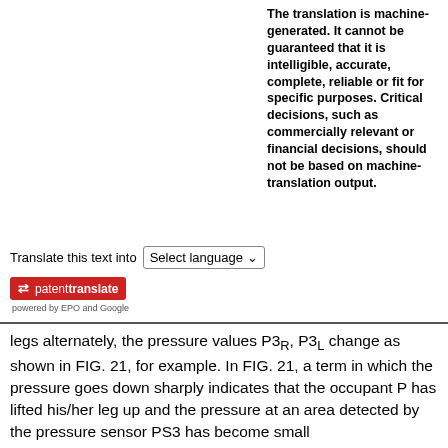The translation is machine-generated. It cannot be guaranteed that it is intelligible, accurate, complete, reliable or fit for specific purposes. Critical decisions, such as commercially relevant or financial decisions, should not be based on machine-translation output.
Translate this text into  Select language
[Figure (logo): patenttranslate logo - red background with white arrow and text, powered by EPO and Google]
legs alternately, the pressure values P3R, P3L change as shown in FIG. 21, for example. In FIG. 21, a term in which the pressure goes down sharply indicates that the occupant P has lifted his/her leg up and the pressure at an area detected by the pressure sensor PS3 has become small